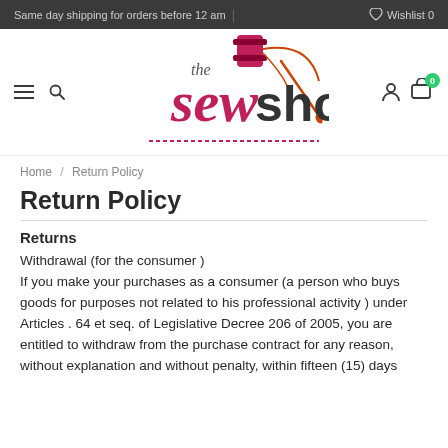Same day shipping for orders before 12 am | Wishlist 0
[Figure (logo): The Sew Shop logo — stylized script text 'the sew shop' in pink/magenta and dark grey with orange needle and thread graphic]
Home / Return Policy
Return Policy
Returns
Withdrawal (for the consumer )
If you make your purchases as a consumer (a person who buys goods for purposes not related to his professional activity ) under Articles . 64 et seq. of Legislative Decree 206 of 2005, you are entitled to withdraw from the purchase contract for any reason, without explanation and without penalty, within fifteen (15) days